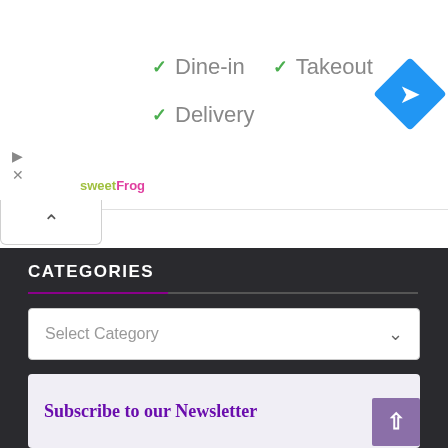[Figure (logo): sweetFrog logo in green and pink text]
✓ Dine-in  ✓ Takeout
✓ Delivery
[Figure (illustration): Google Maps turn-by-turn navigation blue diamond icon with white arrow]
CATEGORIES
Select Category
Subscribe to our Newsletter